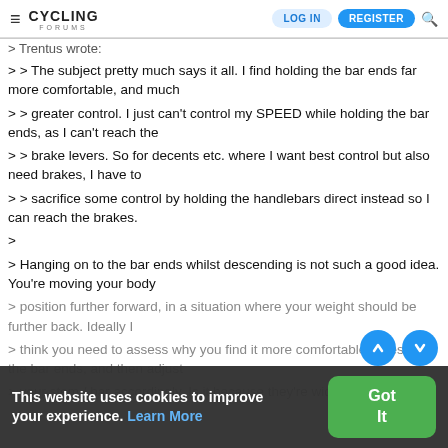≡ CYCLING FORUMS  LOG IN  REGISTER 🔍
> Trentus wrote:
> > The subject pretty much says it all. I find holding the bar ends far more comfortable, and much
> > greater control. I just can't control my SPEED while holding the bar ends, as I can't reach the
> > brake levers. So for decents etc. where I want best control but also need brakes, I have to
> > sacrifice some control by holding the handlebars direct instead so I can reach the brakes.
>
> Hanging on to the bar ends whilst descending is not such a good idea. You're moving your body
> position further forward, in a situation where your weight should be further back. Ideally I
> think you need to assess why you find it more comfortable to rest on the bar ends, and then adjust
> your stem / bar accordingly. Is it because they're wider? Is
This website uses cookies to improve your experience. Learn More
Got It